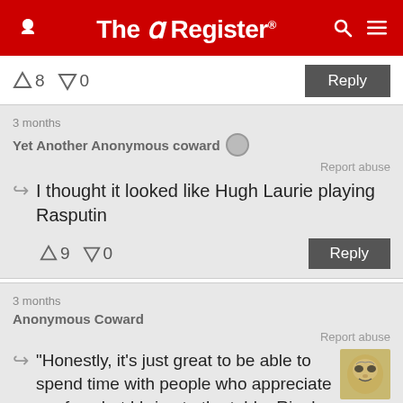The Register
↑8 ↓0
Reply
3 months
Yet Another Anonymous coward
Report abuse
I thought it looked like Hugh Laurie playing Rasputin
↑9 ↓0
Reply
3 months
Anonymous Coward
Report abuse
"Honestly, it's just great to be able to spend time with people who appreciate me for what I bring to the table: Ripple wine."
↓ Reply